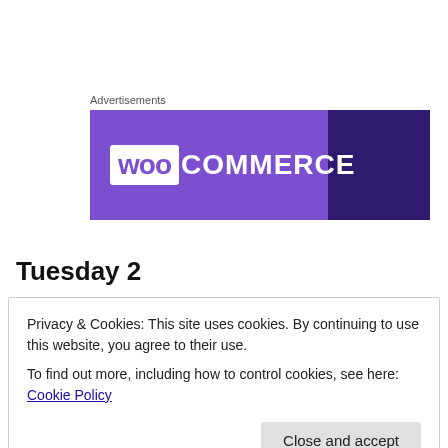Advertisements
[Figure (logo): WooCommerce advertisement banner with purple background and white WooCommerce logo]
Tuesday 2
Privacy & Cookies: This site uses cookies. By continuing to use this website, you agree to their use.
To find out more, including how to control cookies, see here: Cookie Policy
Close and accept
Etienne-du-Rouvray, from the Cathedral of Notre-